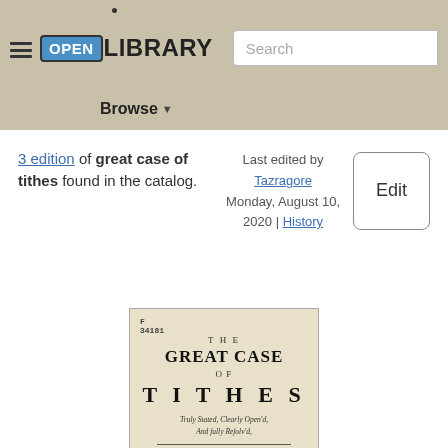Open Library | Browse | Books | Search
3 edition of great case of tithes found in the catalog.
Last edited by Tazragore
Monday, August 10, 2020 | History
Edit
[Figure (photo): Scanned title page of 'The Great Case of Tithes' by Anthony Pearson, formerly a Justice of Peace in Westmorland. With an Appendix.]